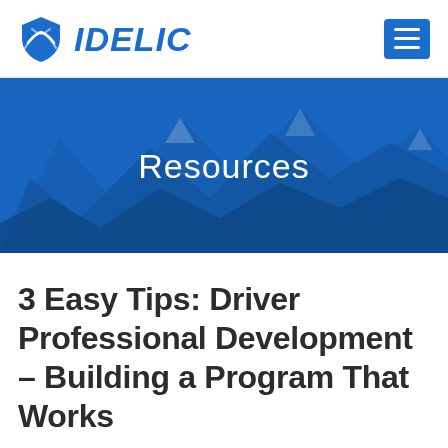IDELIC
[Figure (illustration): Blue mountainous landscape hero banner with 'Resources' text overlay]
3 Easy Tips: Driver Professional Development – Building a Program That Works